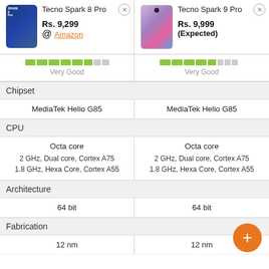| Tecno Spark 8 Pro | Tecno Spark 9 Pro |
| --- | --- |
| Rs. 9,299 @ Amazon | Rs. 9,999 (Expected) |
| Very Good | Very Good |
| Chipset |  |
| MediaTek Helio G85 | MediaTek Helio G85 |
| CPU |  |
| Octa core
2 GHz, Dual core, Cortex A75
1.8 GHz, Hexa Core, Cortex A55 | Octa core
2 GHz, Dual core, Cortex A75
1.8 GHz, Hexa Core, Cortex A55 |
| Architecture |  |
| 64 bit | 64 bit |
| Fabrication |  |
| 12 nm | 12 nm |